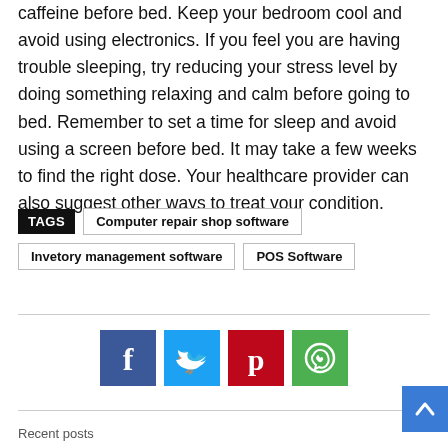caffeine before bed. Keep your bedroom cool and avoid using electronics. If you feel you are having trouble sleeping, try reducing your stress level by doing something relaxing and calm before going to bed. Remember to set a time for sleep and avoid using a screen before bed. It may take a few weeks to find the right dose. Your healthcare provider can also suggest other ways to treat your condition.
TAGS  Computer repair shop software  Invetory management software  POS Software
[Figure (other): Social sharing buttons: Facebook (blue), Twitter (light blue), Pinterest (red), WhatsApp (green)]
[Figure (other): Scroll to top button (blue arrow pointing up)]